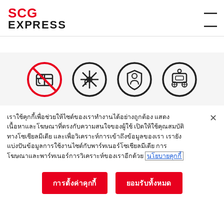[Figure (logo): SCG EXPRESS logo with red SCG text and black EXPRESS text]
[Figure (infographic): Four circular icons: no-touch delivery, no cold/frozen items, person with shield, robotic delivery vehicle]
เราใช้คุกกี้เพื่อช่วยให้ไซต์ของเราทำงานได้อย่างถูกต้อง แสดงเนื้อหาและโฆษณาที่ตรงกับความสนใจของผู้ใช้ เปิดให้ใช้คุณสมบัติทางโซเชียลมีเดีย และเพื่อวิเคราะห์การเข้าถึงข้อมูลของเรา เรายังแบ่งปันข้อมูลการใช้งานไซต์กับพาร์ทเนอร์โซเชียลมีเดีย การโฆษณาและพาร์ทเนอร์การวิเคราะห์ของเราอีกด้วย นโยบายคุกกี้
การตั้งค่าคุกกี้
ยอมรับทั้งหมด